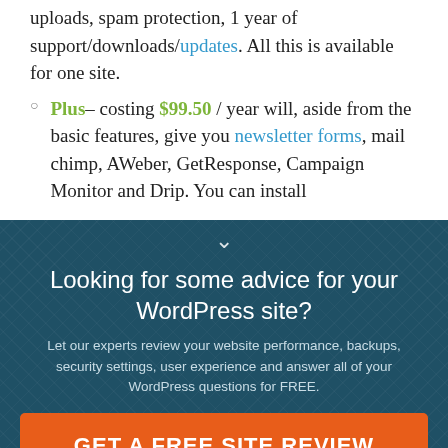uploads, spam protection, 1 year of support/downloads/updates. All this is available for one site.
Plus– costing $99.50 / year will, aside from the basic features, give you newsletter forms, mail chimp, AWeber, GetResponse, Campaign Monitor and Drip. You can install
Looking for some advice for your WordPress site?
Let our experts review your website performance, backups, security settings, user experience and answer all of your WordPress questions for FREE.
GET A FREE SITE REVIEW